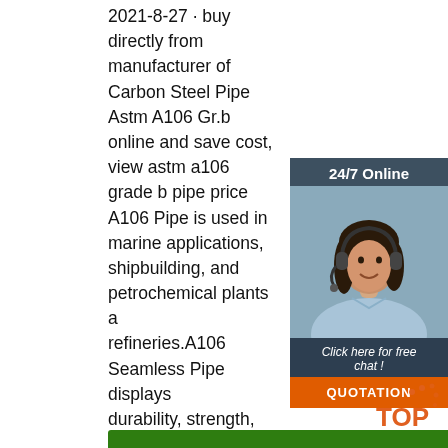2021-8-27 · buy directly from manufacturer of Carbon Steel Pipe Astm A106 Gr.b online and save cost, view astm a106 grade b pipe price A106 Pipe is used in marine applications, shipbuilding, and petrochemical plants and refineries.A106 Seamless Pipe displays durability, strength, and wear and tear resistance. The raze range of A106 galvanized pipe between ⅛ inches to 48 inches.
[Figure (photo): Customer service representative with headset, smiling, used as a 24/7 online chat widget on the right side of the page. Widget shows '24/7 Online' header, photo of woman, 'Click here for free chat!' text, and 'QUOTATION' button.]
[Figure (photo): Photo of bundled steel pipes/rods viewed from the end, showing circular cross-sections, gray metallic color, stacked horizontally.]